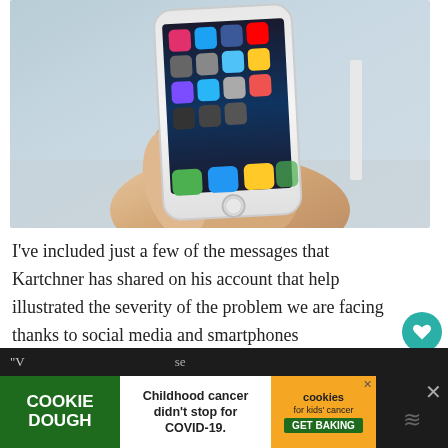[Figure (photo): A hand holding a white iPhone displaying its home screen with various app icons including Instagram, Twitter, Facebook, YouTube, and others. The background is blurred outdoor scenery.]
I've included just a few of the messages that Kartchner has shared on his account that help illustrated the severity of the problem we are facing thanks to social media and smartphones
[Figure (infographic): Advertisement banner: Cookie Dough green logo on left, center text 'Childhood cancer didn't stop for COVID-19.', cookies for kids' cancer logo with GET BAKING button, and close X on right.]